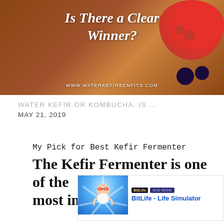[Figure (photo): Blog banner image showing text 'Is There a Clear Winner?' in white italic script over a wooden background with strawberries, raspberries, and blueberries. URL www.waterkefirbenfits.com shown at bottom.]
WATER KEFIR OR KOMBUCHA: IS ...
MAY 21, 2019
My Pick for Best Kefir Fermenter
The Kefir Fermenter is one of the most important factors when
[Figure (screenshot): Advertisement for BitLife - Life Simulator app. Shows a cartoon baby figure with heart-eyes sunglasses on a blue starburst background. Top bar shows BitLife logo and GOD MODE badge. Ad label shown below.]
Ad